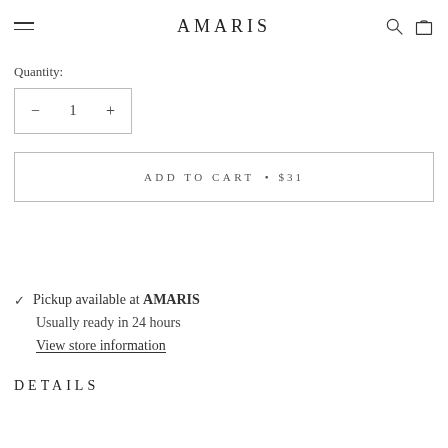AMARIS
Quantity:
- 1 +
ADD TO CART • $31
Pickup available at AMARIS
Usually ready in 24 hours
View store information
DETAILS